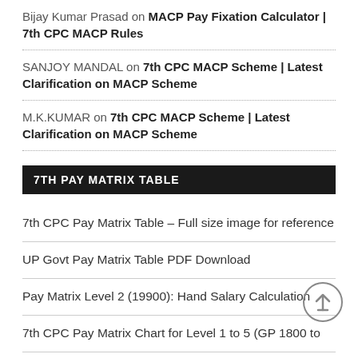Bijay Kumar Prasad on MACP Pay Fixation Calculator | 7th CPC MACP Rules
SANJOY MANDAL on 7th CPC MACP Scheme | Latest Clarification on MACP Scheme
M.K.KUMAR on 7th CPC MACP Scheme | Latest Clarification on MACP Scheme
7TH PAY MATRIX TABLE
7th CPC Pay Matrix Table – Full size image for reference
UP Govt Pay Matrix Table PDF Download
Pay Matrix Level 2 (19900): Hand Salary Calculation
7th CPC Pay Matrix Chart for Level 1 to 5 (GP 1800 to